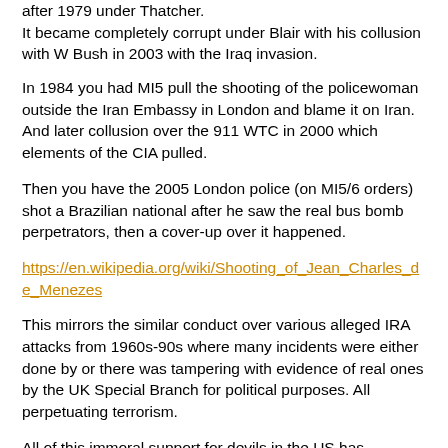after 1979 under Thatcher.
It became completely corrupt under Blair with his collusion with W Bush in 2003 with the Iraq invasion.
In 1984 you had MI5 pull the shooting of the policewoman outside the Iran Embassy in London and blame it on Iran. And later collusion over the 911 WTC in 2000 which elements of the CIA pulled.
Then you have the 2005 London police (on MI5/6 orders) shot a Brazilian national after he saw the real bus bomb perpetrators, then a cover-up over it happened.
https://en.wikipedia.org/wiki/Shooting_of_Jean_Charles_de_Menezes
This mirrors the similar conduct over various alleged IRA attacks from 1960s-90s where many incidents were either done by or there was tampering with evidence of real ones by the UK Special Branch for political purposes. All perpetuating terrorism.
All of this immoral support for devils in the US has completely stained the UK's position.
And with it the main UK political parties and the palace as well.